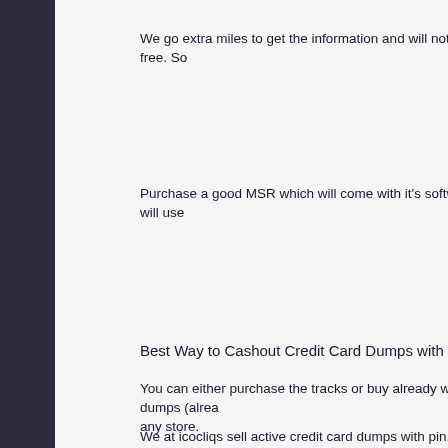We go extra miles to get the information and will not give it out free. So
Purchase a good MSR which will come with it's software, you will use
Best Way to Cashout Credit Card Dumps with Pin
You can either purchase the tracks or buy already written dumps (alrea any store.
We at icocliqs sell active credit card dumps with pin. If you are interest
If you have already gotten an MRS reader/writer, you will only need to
It is better to card with 101 dumps.
Dumps cashout method
Buy Cloned Credit Card From Hackers and Cash Out 2022
What is a Cloned Credit Card?
Hackers use credit card skimmers to obtain the magnetic stripe inform numbers, CVV, and expiry date. This information comes in the form of